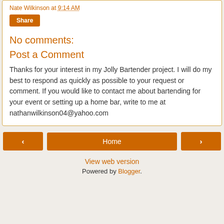Nate Wilkinson at 9:14 AM
Share
No comments:
Post a Comment
Thanks for your interest in my Jolly Bartender project. I will do my best to respond as quickly as possible to your request or comment. If you would like to contact me about bartending for your event or setting up a home bar, write to me at nathanwilkinson04@yahoo.com
‹
Home
›
View web version
Powered by Blogger.